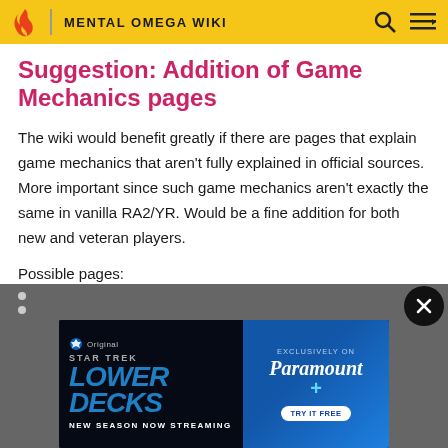MENTAL OMEGA WIKI
Suggestion: Addition of Game Mechanics pages
The wiki would benefit greatly if there are pages that explain game mechanics that aren't fully explained in official sources. More important since such game mechanics aren't exactly the same in vanilla RA2/YR. Would be a fine addition for both new and veteran players.
Possible pages:
[Figure (screenshot): Star Trek Lower Decks advertisement banner — Paramount+ Original, New Season Now Streaming, Exclusively on Paramount+, Try It Free]
Status Effects (e.g. Frozen, Suppressed)
Buildings (Structures)